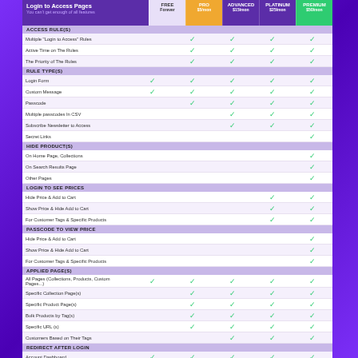Login to Access Pages
You can't get enough of all features
| Feature | FREE Forever | PRO $5/mon | ADVANCED $15/mon | PLATINUM $25/mon | PREMIUM $50/mon |
| --- | --- | --- | --- | --- | --- |
| ACCESS RULE(S) |  |  |  |  |  |
| Multiple 'Login to Access' Rules |  | ✓ | ✓ | ✓ | ✓ |
| Active Time on The Rules |  | ✓ | ✓ | ✓ | ✓ |
| The Priority of The Rules |  | ✓ | ✓ | ✓ | ✓ |
| RULE TYPE(S) |  |  |  |  |  |
| Login Form | ✓ | ✓ | ✓ | ✓ | ✓ |
| Custom Message | ✓ | ✓ | ✓ | ✓ | ✓ |
| Passcode |  | ✓ | ✓ | ✓ | ✓ |
| Multiple passcodes In CSV |  |  | ✓ | ✓ | ✓ |
| Subscribe Newsletter to Access |  |  | ✓ | ✓ | ✓ |
| Secret Links |  |  |  |  | ✓ |
| HIDE PRODUCT(S) |  |  |  |  |  |
| On Home Page, Collections |  |  |  |  | ✓ |
| On Search Results Page |  |  |  |  | ✓ |
| Other Pages |  |  |  |  | ✓ |
| LOGIN TO SEE PRICES |  |  |  |  |  |
| Hide Price & Add to Cart |  |  |  | ✓ | ✓ |
| Show Price & Hide Add to Cart |  |  |  | ✓ | ✓ |
| For Customer Tags & Specific Products |  |  |  | ✓ | ✓ |
| PASSCODE TO VIEW PRICE |  |  |  |  |  |
| Hide Price & Add to Cart |  |  |  |  | ✓ |
| Show Price & Hide Add to Cart |  |  |  |  | ✓ |
| For Customer Tags & Specific Products |  |  |  |  | ✓ |
| APPLIED PAGE(S) |  |  |  |  |  |
| All Pages (Collections, Products, Custom Pages...) | ✓ | ✓ | ✓ | ✓ | ✓ |
| Specific Collection Page(s) |  | ✓ | ✓ | ✓ | ✓ |
| Specific Product Page(s) |  | ✓ | ✓ | ✓ | ✓ |
| Bulk Products by Tag(s) |  | ✓ | ✓ | ✓ | ✓ |
| Specific URL (s) |  | ✓ | ✓ | ✓ | ✓ |
| Customers Based on Their Tags |  |  | ✓ | ✓ | ✓ |
| REDIRECT AFTER LOGIN |  |  |  |  |  |
| Account Dashboard | ✓ | ✓ | ✓ | ✓ | ✓ |
| Custom Page | ✓ | ✓ | ✓ | ✓ | ✓ |
| Restricted Page | ✓ | ✓ | ✓ | ✓ | ✓ |
| DISABLE REGISTRATION |  |  |  |  |  |
| Disable 'Create an Account' |  |  | ✓ | ✓ | ✓ |
| CONTACT SUPPORT |  |  |  |  |  |
| Live Chat, Email | ✓ | ✓ | ✓ | ✓ | ✓ |
| Prioritized Support |  | ✓ | ✓ | ✓ | ✓ |